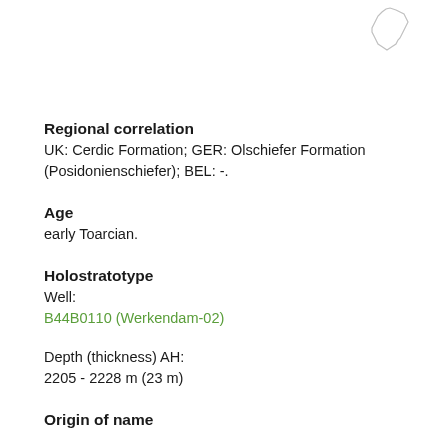[Figure (map): Outline map of the Netherlands region showing country/region boundary in light gray]
Regional correlation
UK: Cerdic Formation; GER: Olschiefer Formation (Posidonienschiefer); BEL: -.
Age
early Toarcian.
Holostratotype
Well:
B44B0110 (Werkendam-02)
Depth (thickness) AH:
2205 - 2228 m (23 m)
Origin of name